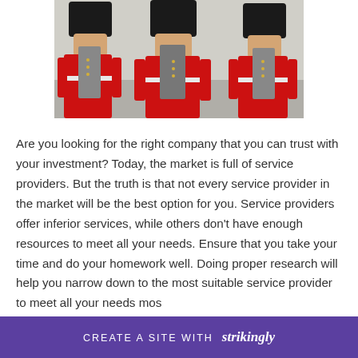[Figure (photo): Three British Royal Guards in red tunics and black fur hats (busbies), holding instruments, viewed from the front against a light background.]
Are you looking for the right company that you can trust with your investment? Today, the market is full of service providers. But the truth is that not every service provider in the market will be the best option for you. Service providers offer inferior services, while others don't have enough resources to meet all your needs. Ensure that you take your time and do your homework well. Doing proper research will help you narrow down to the most suitable service provider to meet all your needs most… his
CREATE A SITE WITH strikingly